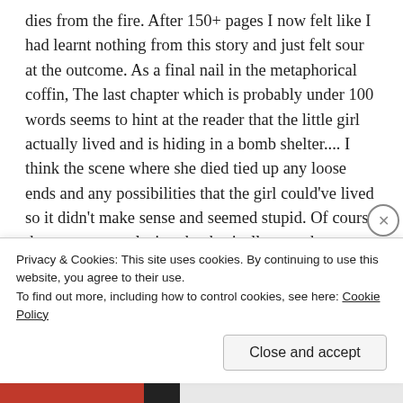dies from the fire. After 150+ pages I now felt like I had learnt nothing from this story and just felt sour at the outcome. As a final nail in the metaphorical coffin, The last chapter which is probably under 100 words seems to hint at the reader that the little girl actually lived and is hiding in a bomb shelter.... I think the scene where she died tied up any loose ends and any possibilities that the girl could've lived so it didn't make sense and seemed stupid. Of course there was a conclusion that basically says that sums up the book saying it was a 'dark' book but not about invented things instead about the darkness of the human soul (which wouldn't have been so bad) EXCEPT that then
Privacy & Cookies: This site uses cookies. By continuing to use this website, you agree to their use.
To find out more, including how to control cookies, see here: Cookie Policy
Close and accept